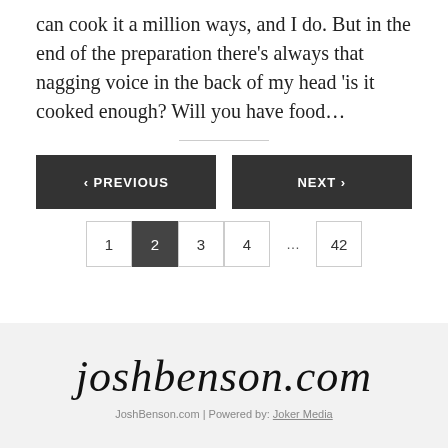can cook it a million ways, and I do. But in the end of the preparation there’s always that nagging voice in the back of my head ‘is it cooked enough? Will you have food…
‹ PREVIOUS   NEXT ›
1  2  3  4  …  42
[Figure (logo): joshbenson.com handwritten-style logo]
JoshBenson.com | Powered by: Joker Media